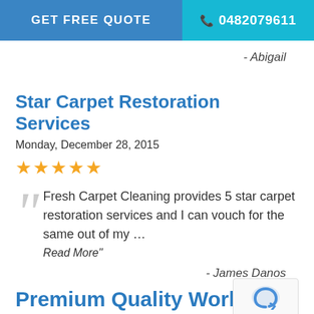GET FREE QUOTE  |  0482079611
- Abigail
Star Carpet Restoration Services
Monday, December 28, 2015
★★★★★
Fresh Carpet Cleaning provides 5 star carpet restoration services and I can vouch for the same out of my … Read More"
- James Danos
Premium Quality Work